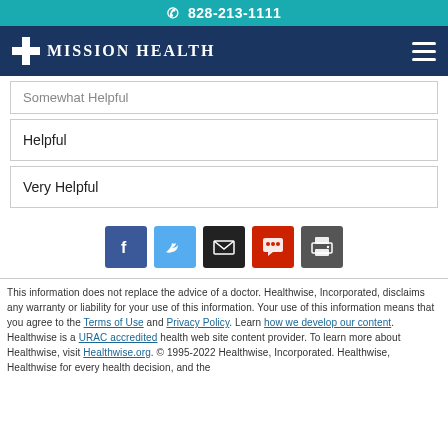📞 828-213-1111
[Figure (logo): Mission Health logo with cross icon and navigation hamburger menu on dark blue background]
Somewhat Helpful
Helpful
Very Helpful
[Figure (infographic): Social sharing icons: Facebook (blue), Twitter (light blue), Email (black), Comment (red), Print (gray)]
This information does not replace the advice of a doctor. Healthwise, Incorporated, disclaims any warranty or liability for your use of this information. Your use of this information means that you agree to the Terms of Use and Privacy Policy. Learn how we develop our content. Healthwise is a URAC accredited health web site content provider. To learn more about Healthwise, visit Healthwise.org. © 1995-2022 Healthwise, Incorporated. Healthwise, Healthwise for every health decision, and the